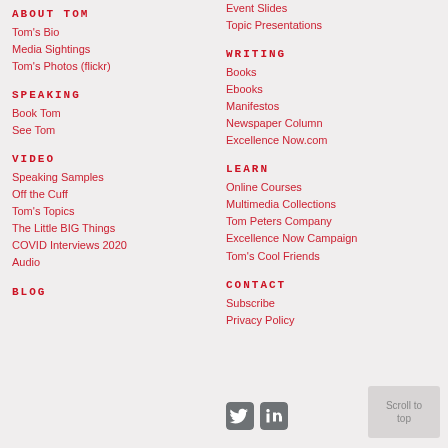ABOUT TOM
Tom's Bio
Media Sightings
Tom's Photos (flickr)
SPEAKING
Book Tom
See Tom
VIDEO
Speaking Samples
Off the Cuff
Tom's Topics
The Little BIG Things
COVID Interviews 2020
Audio
BLOG
Event Slides
Topic Presentations
WRITING
Books
Ebooks
Manifestos
Newspaper Column
Excellence Now.com
LEARN
Online Courses
Multimedia Collections
Tom Peters Company
Excellence Now Campaign
Tom's Cool Friends
CONTACT
Subscribe
Privacy Policy
[Figure (illustration): Twitter and LinkedIn social media icons]
Scroll to top